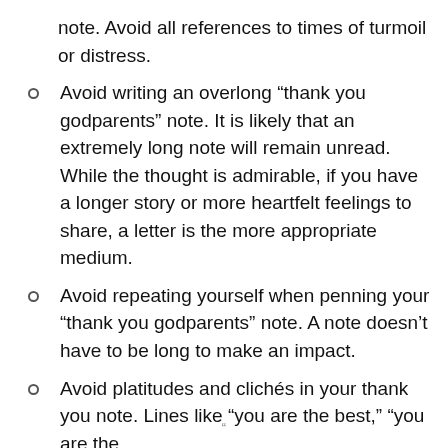note. Avoid all references to times of turmoil or distress.
Avoid writing an overlong “thank you godparents” note. It is likely that an extremely long note will remain unread. While the thought is admirable, if you have a longer story or more heartfelt feelings to share, a letter is the more appropriate medium.
Avoid repeating yourself when penning your “thank you godparents” note. A note doesn’t have to be long to make an impact.
Avoid platitudes and clichés in your thank you note. Lines like “you are the best,” “you are the